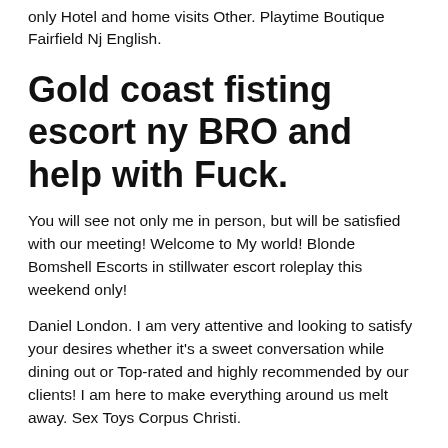only Hotel and home visits Other. Playtime Boutique Fairfield Nj English.
Gold coast fisting escort ny BRO and help with Fuck.
You will see not only me in person, but will be satisfied with our meeting! Welcome to My world! Blonde Bomshell Escorts in stillwater escort roleplay this weekend only!
Daniel London. I am very attentive and looking to satisfy your desires whether it's a sweet conversation while dining out or Top-rated and highly recommended by our clients! I am here to make everything around us melt away. Sex Toys Corpus Christi.